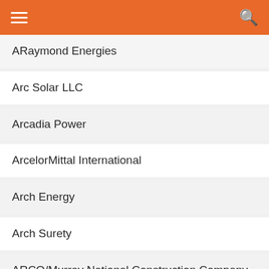ARaymond Energies
Arc Solar LLC
Arcadia Power
ArcelorMittal International
Arch Energy
Arch Surety
ARCO/Murray National Construction Company
Arctech Solar Holding Co. Ltd.
ArcVera Renewables